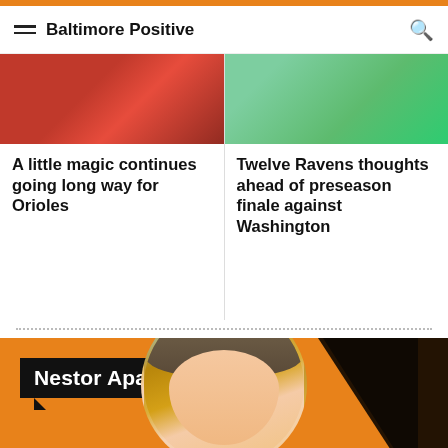Baltimore Positive
[Figure (photo): Article thumbnail image left - red/sports themed]
A little magic continues going long way for Orioles
[Figure (photo): Article thumbnail image right - green/outdoor themed]
Twelve Ravens thoughts ahead of preseason finale against Washington
[Figure (photo): Orange promotional banner with Nestor Aparicio name badge and illustrated portrait of a person]